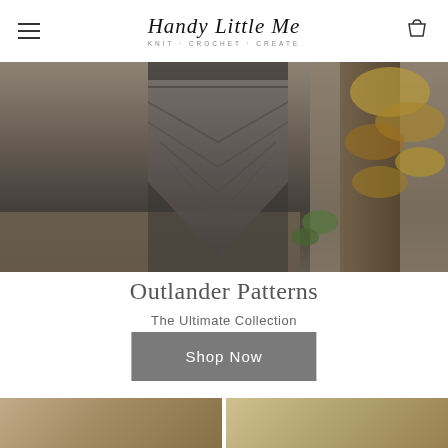Handy Little Me — KNIT · CROCHET · CREATE
[Figure (photo): Person wearing a triangular knitted shawl with chevron pattern in grey tones, standing outdoors near a tree with autumn leaves]
Outlander Patterns
The Ultimate Collection
Shop Now
[Figure (photo): Partial bottom images, two product or lifestyle photos partially visible at the bottom of the page]